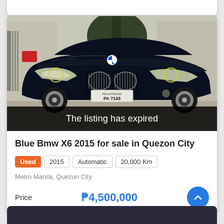[Figure (photo): Dark blue BMW X6 2015 SUV parked on a street, front view showing license plate PA 7143. Trees and a gate visible in background.]
The listing has expired
Blue Bmw X6 2015 for sale in Quezon City
Used  2015  Automatic  20,000 Km
Metro Manila, Quezon City
Price  ₱4,500,000